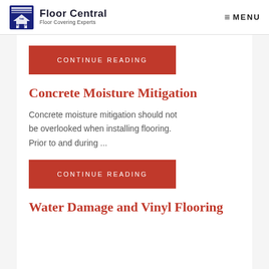Floor Central — Floor Covering Experts | MENU
[Figure (logo): The Weinheimer Group logo with Floor Central branding and Floor Covering Experts tagline, plus MENU button]
CONTINUE READING
Concrete Moisture Mitigation
Concrete moisture mitigation should not be overlooked when installing flooring. Prior to and during ...
CONTINUE READING
Water Damage and Vinyl Flooring